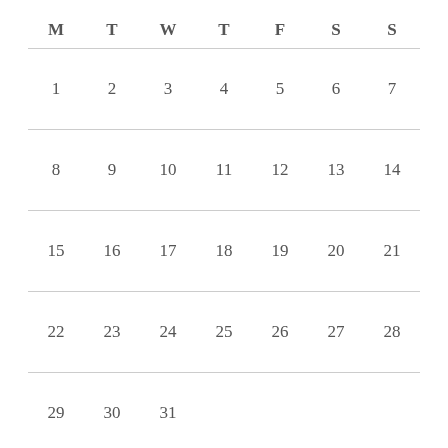| M | T | W | T | F | S | S |
| --- | --- | --- | --- | --- | --- | --- |
| 1 | 2 | 3 | 4 | 5 | 6 | 7 |
| 8 | 9 | 10 | 11 | 12 | 13 | 14 |
| 15 | 16 | 17 | 18 | 19 | 20 | 21 |
| 22 | 23 | 24 | 25 | 26 | 27 | 28 |
| 29 | 30 | 31 |  |  |  |  |
« Jun